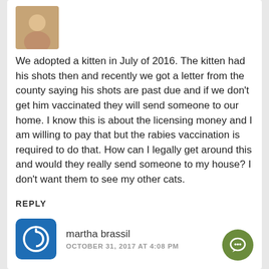[Figure (photo): User avatar photo of a person, partially visible at top of comment card]
We adopted a kitten in July of 2016. The kitten had his shots then and recently we got a letter from the county saying his shots are past due and if we don't get him vaccinated they will send someone to our home. I know this is about the licensing money and I am willing to pay that but the rabies vaccination is required to do that. How can I legally get around this and would they really send someone to my house? I don't want them to see my other cats.
REPLY
[Figure (logo): Blue square rounded avatar with white power/user icon for martha brassil]
martha brassil
OCTOBER 31, 2017 AT 4:08 PM